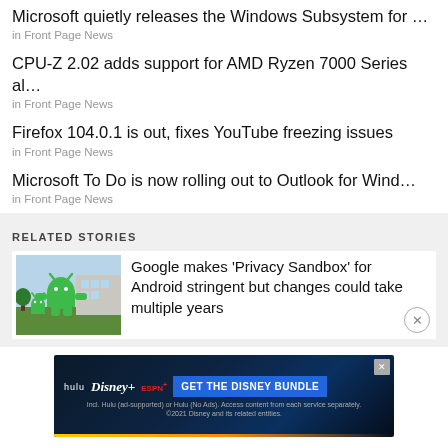Microsoft quietly releases the Windows Subsystem for ...
in Front Page News
CPU-Z 2.02 adds support for AMD Ryzen 7000 Series al...
in Front Page News
Firefox 104.0.1 is out, fixes YouTube freezing issues
in Front Page News
Microsoft To Do is now rolling out to Outlook for Wind...
in Front Page News
RELATED STORIES
Google makes ‘Privacy Sandbox’ for Android stringent but changes could take multiple years
[Figure (photo): Android figurines outdoors near a building]
[Figure (other): Hulu Disney+ ESPN+ GET THE DISNEY BUNDLE advertisement banner]